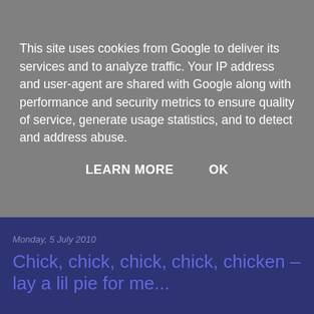This site uses cookies from Google to deliver its services and to analyze traffic. Your IP address and user-agent are shared with Google along with performance and security metrics to ensure quality of service, generate usage statistics, and to detect and address abuse.
LEARN MORE   OK
Monday, 5 July 2010
Chick, chick, chick, chick, chicken – lay a lil pie for me...
Sainsbury's Chicken in Gravy Pie
So the lads were visiting a Saino's store tup north the other week and happened to spot a Chicken in gravy pie which would look good with a few cheeky crispy fries. So they thought "why not?!" and bagged a golden, crisp pie with nice pastry, filled with a decent amount of chicken chunks and a great complimentary gravy. Well worth a repeat purchase, although it was slightly small so you may want to think about